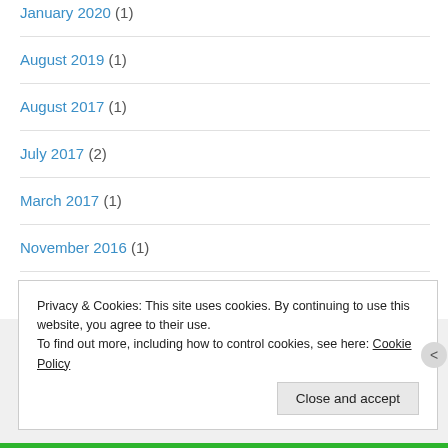January 2020 (1)
August 2019 (1)
August 2017 (1)
July 2017 (2)
March 2017 (1)
November 2016 (1)
October 2016 (1)
Privacy & Cookies: This site uses cookies. By continuing to use this website, you agree to their use.
To find out more, including how to control cookies, see here: Cookie Policy
Close and accept